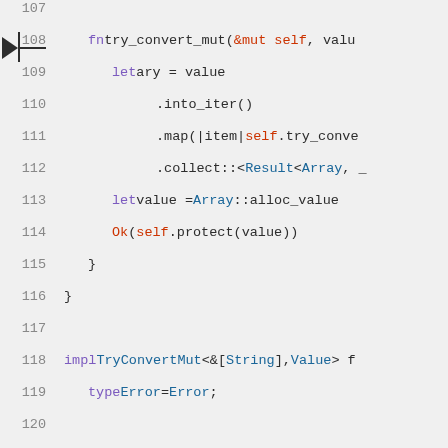[Figure (screenshot): Source code editor screenshot showing Rust code lines 107-125. Line 108 has an arrow indicator. Code includes fn try_convert_mut, let ary = value chains with .into_iter(), .map(), .collect(), Array::alloc_value, Ok(self.protect(value)), impl TryConvertMut<&[String], Value>, type Error = Error, and a second fn try_convert_mut with .iter(), .map(), .collect() chain.]